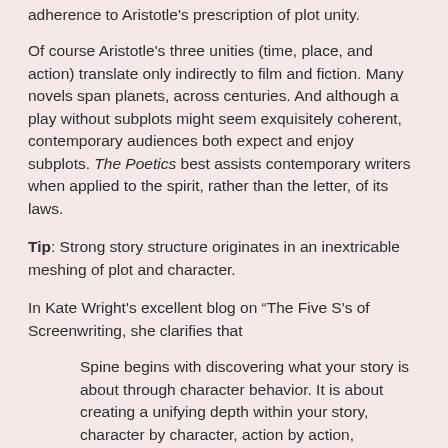adherence to Aristotle's prescription of plot unity.
Of course Aristotle's three unities (time, place, and action) translate only indirectly to film and fiction. Many novels span planets, across centuries. And although a play without subplots might seem exquisitely coherent, contemporary audiences both expect and enjoy subplots. The Poetics best assists contemporary writers when applied to the spirit, rather than the letter, of its laws.
Tip: Strong story structure originates in an inextricable meshing of plot and character.
In Kate Wright's excellent blog on “The Five S's of Screenwriting, she clarifies that
Spine begins with discovering what your story is about through character behavior. It is about creating a unifying depth within your story, character by character, action by action, sequence by sequence, layer upon layer. The surprise is that once you discover what your story is about on a profound level, there are an infinite